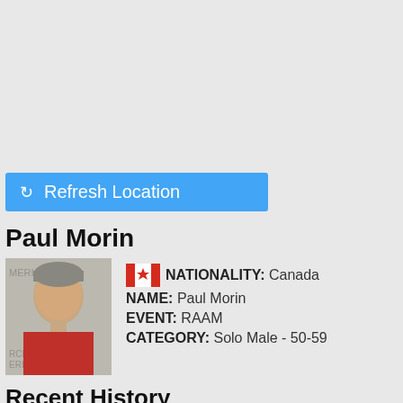[Figure (other): Blue Refresh Location button with refresh icon]
Paul Morin
[Figure (photo): Profile photo of Paul Morin, middle-aged man in red shirt, with RAAM background text]
NATIONALITY: Canada NAME: Paul Morin EVENT: RAAM CATEGORY: Solo Male - 50-59
Recent History
#553 on 08:21:23 PM (EDT) 06/16/16 (99 days, 22 hours, 5…
#552 on 08:16:23 PM (EDT) 06/16/16 (99 days, 22 hours, 5…